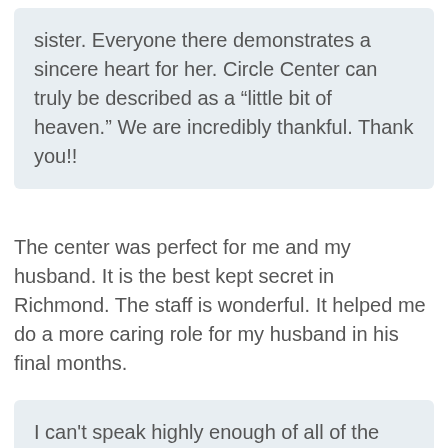sister. Everyone there demonstrates a sincere heart for her. Circle Center can truly be described as a “little bit of heaven.” We are incredibly thankful. Thank you!!
The center was perfect for me and my husband. It is the best kept secret in Richmond. The staff is wonderful. It helped me do a more caring role for my husband in his final months.
I can't speak highly enough of all of the staff, especially Jay. Each staff member goes out of their way to provide a safe and friendly environment. Jay has been incredibly helpful and kind in all ways and I'm extremely grateful for his time and energy.